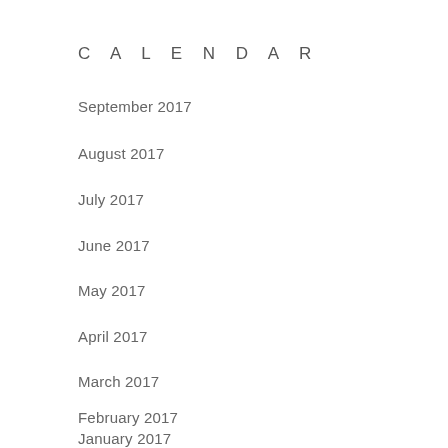CALENDAR
September 2017
August 2017
July 2017
June 2017
May 2017
April 2017
March 2017
February 2017
January 2017